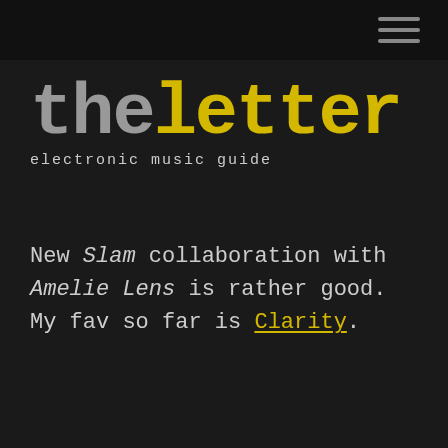theletter electronic music guide
New Slam collaboration with Amelie Lens is rather good. My fav so far is Clarity.